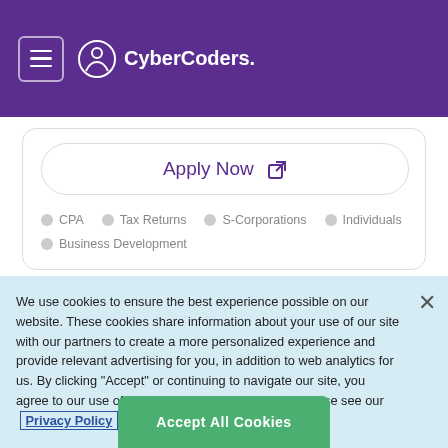CyberCoders
Apply Now
CPA
Tax Returns
S-Corporations
Individuals
Business Development
Senior Tax Associate
We use cookies to ensure the best experience possible on our website. These cookies share information about your use of our site with our partners to create a more personalized experience and provide relevant advertising for you, in addition to web analytics for us. By clicking "Accept" or continuing to navigate our site, you agree to our use of cookies. For more information please see our Privacy Policy
Accept All Cookies